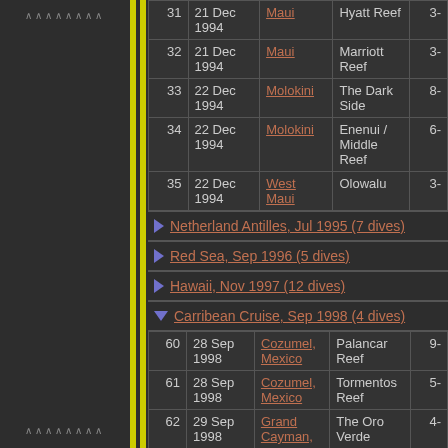| # | Date | Location | Site | Depth |
| --- | --- | --- | --- | --- |
| 31 | 21 Dec 1994 | Maui | Hyatt Reef | 3- |
| 32 | 21 Dec 1994 | Maui | Marriott Reef | 3- |
| 33 | 22 Dec 1994 | Molokini | The Dark Side | 8- |
| 34 | 22 Dec 1994 | Molokini | Enenui / Middle Reef | 6- |
| 35 | 22 Dec 1994 | West Maui | Olowalu | 3- |
Netherland Antilles, Jul 1995 (7 dives)
Red Sea, Sep 1996 (5 dives)
Hawaii, Nov 1997 (12 dives)
Carribean Cruise, Sep 1998 (4 dives)
| # | Date | Location | Site | Depth |
| --- | --- | --- | --- | --- |
| 60 | 28 Sep 1998 | Cozumel, Mexico | Palancar Reef | 9- |
| 61 | 28 Sep 1998 | Cozumel, Mexico | Tormentos Reef | 5- |
| 62 | 29 Sep 1998 | Grand Cayman, | The Oro Verde | 4- |